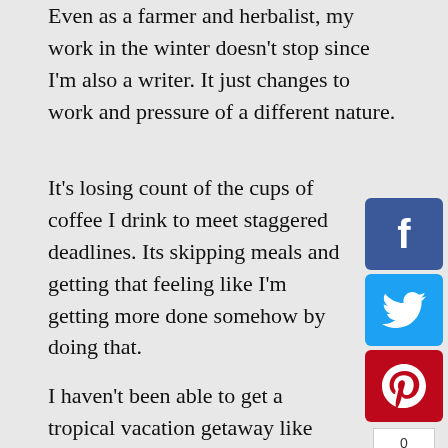Even as a farmer and herbalist, my work in the winter doesn't stop since I'm also a writer. It just changes to work and pressure of a different nature.
It's losing count of the cups of coffee I drink to meet staggered deadlines. Its skipping meals and getting that feeling like I'm getting more done somehow by doing that.
[Figure (infographic): Social media share buttons sidebar: Facebook (blue), Twitter (blue), Pinterest (red), count box showing 0, LinkedIn (blue), Tumblr (dark blue)]
I haven't been able to get a tropical vacation getaway like some people. Despite winter forcing me indoors, I haven't quite rested and re-nourished– I haven't had my break, and I think by not being ready for spring, it's because I'm still chasing that rest and re-nourishment.
The other reason: I've been addicted to hygge lately. Staying inside, peering with a comfy feeling at yet